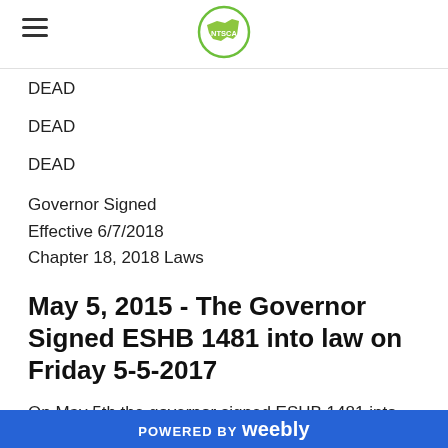[Figure (logo): NTSCA organization logo — circular green border with green state shape and white text 'NTSCA']
DEAD
DEAD
DEAD
Governor Signed
Effective 6/7/2018
Chapter 18, 2018 Laws
May 5, 2015 - The Governor Signed ESHB 1481 into law on Friday 5-5-2017
On May 5th the governor signed ESHB 1481 into Law.  Skeet Gaul and David Slipp were present at the signing of this significant bill.  Many public school program coordinators,
POWERED BY weebly